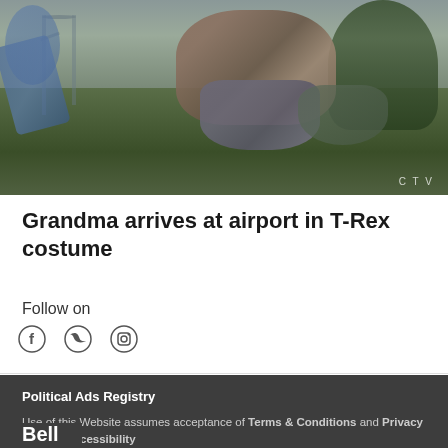[Figure (photo): Outdoor scene at a playground with grass lawn. A figure in a T-Rex dinosaur costume is visible in the center, with playground equipment (slide, climbing structure) on the left and trees on the right. Overcast sky. CTV watermark in bottom right corner.]
Grandma arrives at airport in T-Rex costume
Follow on
[Figure (other): Social media icons: Facebook (f), Twitter (bird), Instagram (camera)]
Political Ads Registry
Use of this Website assumes acceptance of Terms & Conditions and Privacy Policy | Accessibility
Bell